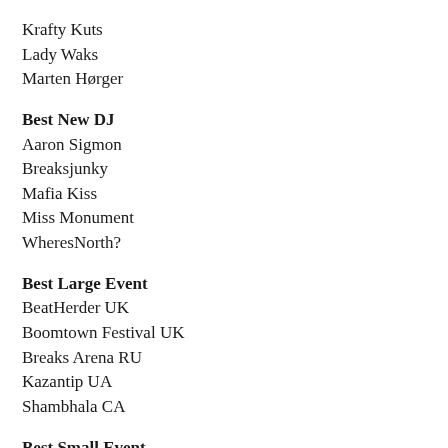Krafty Kuts
Lady Waks
Marten Hørger
Best New DJ
Aaron Sigmon
Breaksjunky
Mafia Kiss
Miss Monument
WheresNorth?
Best Large Event
BeatHerder UK
Boomtown Festival UK
Breaks Arena RU
Kazantip UA
Shambhala CA
Best Small Event
Beaverfest (Leeds)
illumiNaughty (Manchester)
Lowdown & Dirty (Manchester)
Ninjabreakz (Budapest)
Sideshow Kuts (Global)